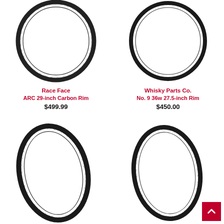[Figure (photo): Black bicycle rim - Race Face ARC 29-inch Carbon Rim, large circular ring viewed from front]
Race Face
ARC 29-inch Carbon Rim
$499.99
[Figure (photo): Black bicycle rim - Whisky Parts Co. No. 9 36w 27.5-inch Rim, circular ring viewed from front]
Whisky Parts Co.
No. 9 36w 27.5-inch Rim
$450.00
[Figure (photo): Black bicycle rim, slightly oval perspective, lower left, partially cropped]
[Figure (photo): Black bicycle rim, slightly oval perspective, lower right, partially cropped]